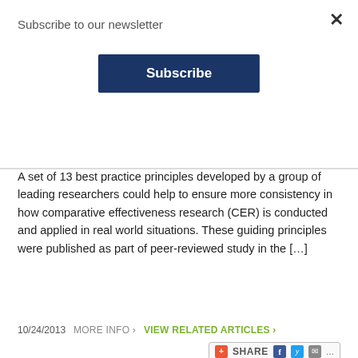Subscribe to our newsletter
A set of 13 best practice principles developed by a group of leading researchers could help to ensure more consistency in how comparative effectiveness research (CER) is conducted and applied in real world situations. These guiding principles were published as part of peer-reviewed study in the [...]
10/24/2013   MORE INFO >   VIEW RELATED ARTICLES >
Opportunities and Challenges for Comparative Effectiveness Pragmatic Clinical Trials in Europe, PPT
Presentation at ISPOR Europe, Nov. 2011, by Marc L. Berger, M.D., Executive Vice President & Senior Scientist, Life Sciences, OptumInsight, New York, NY, USA [...]